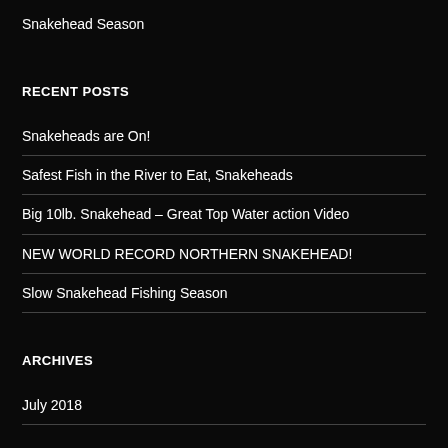Snakehead Season
RECENT POSTS
Snakeheads are On!
Safest Fish in the River to Eat, Snakeheads
Big 10lb. Snakehead – Great Top Water action Video
NEW WORLD RECORD NORTHERN SNAKEHEAD!
Slow Snakehead Fishing Season
ARCHIVES
July 2018